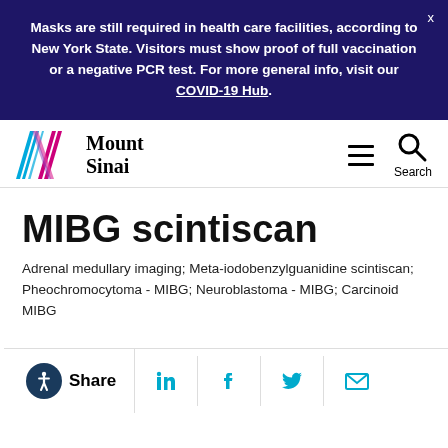Masks are still required in health care facilities, according to New York State. Visitors must show proof of full vaccination or a negative PCR test. For more general info, visit our COVID-19 Hub.
[Figure (logo): Mount Sinai logo with colorful diagonal lines and text]
MIBG scintiscan
Adrenal medullary imaging; Meta-iodobenzylguanidine scintiscan; Pheochromocytoma - MIBG; Neuroblastoma - MIBG; Carcinoid MIBG
Share